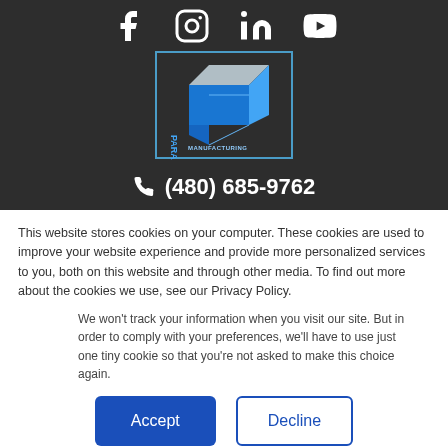[Figure (logo): Paradigm Manufacturing logo: blue 3D cube with text PARADIGM MANUFACTURING]
(480) 685-9762
This website stores cookies on your computer. These cookies are used to improve your website experience and provide more personalized services to you, both on this website and through other media. To find out more about the cookies we use, see our Privacy Policy.
We won't track your information when you visit our site. But in order to comply with your preferences, we'll have to use just one tiny cookie so that you're not asked to make this choice again.